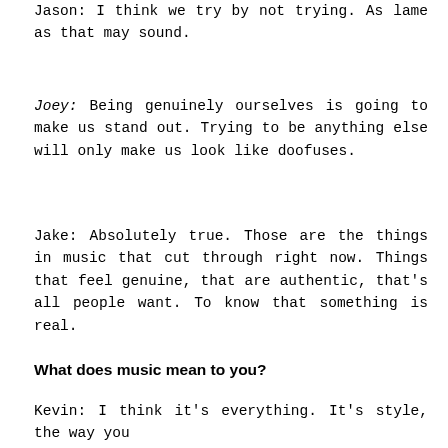Jason: I think we try by not trying. As lame as that may sound.
Joey: Being genuinely ourselves is going to make us stand out. Trying to be anything else will only make us look like doofuses.
Jake: Absolutely true. Those are the things in music that cut through right now. Things that feel genuine, that are authentic, that's all people want. To know that something is real.
What does music mean to you?
Kevin: I think it's everything. It's style, the way you